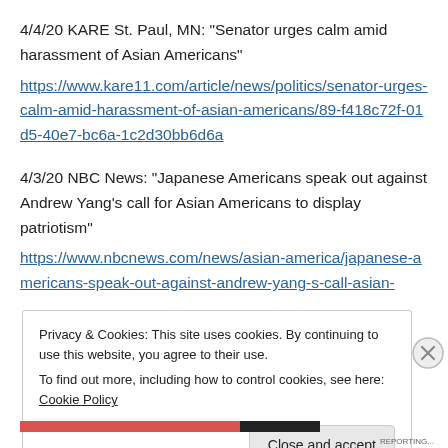4/4/20 KARE St. Paul, MN: “Senator urges calm amid harassment of Asian Americans”
https://www.kare11.com/article/news/politics/senator-urges-calm-amid-harassment-of-asian-americans/89-f418c72f-01d5-40e7-bc6a-1c2d30bb6d6a
4/3/20 NBC News: “Japanese Americans speak out against Andrew Yang’s call for Asian Americans to display patriotism”
https://www.nbcnews.com/news/asian-america/japanese-americans-speak-out-against-andrew-yang-s-call-asian-
Privacy & Cookies: This site uses cookies. By continuing to use this website, you agree to their use.
To find out more, including how to control cookies, see here: Cookie Policy
Close and accept